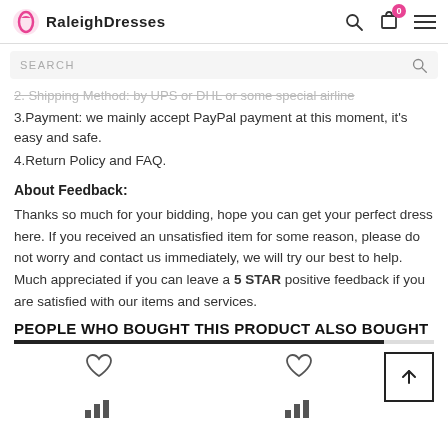RaleighDresses
2. Shipping Method: by UPS or DHL or some special airline
3.Payment: we mainly accept PayPal payment at this moment, it's easy and safe.
4.Return Policy and FAQ.
About Feedback:
Thanks so much for your bidding, hope you can get your perfect dress here. If you received an unsatisfied item for some reason, please do not worry and contact us immediately, we will try our best to help. Much appreciated if you can leave a 5 STAR positive feedback if you are satisfied with our items and services.
PEOPLE WHO BOUGHT THIS PRODUCT ALSO BOUGHT
[Figure (other): Two product cards with heart (wishlist) icons and bar chart icons representing products also bought]